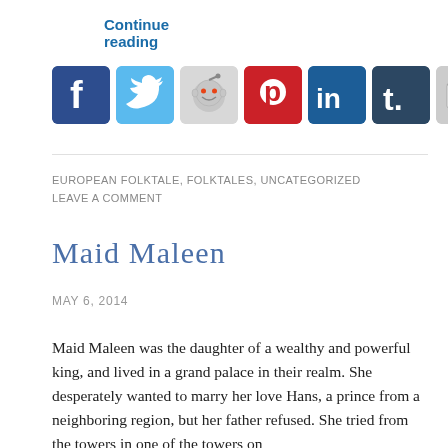Continue reading
[Figure (other): Row of social media sharing icons: Facebook, Twitter, Reddit, Pinterest, LinkedIn, Tumblr, Email]
EUROPEAN FOLKTALE, FOLKTALES, UNCATEGORIZED
LEAVE A COMMENT
Maid Maleen
MAY 6, 2014
Maid Maleen was the daughter of a wealthy and powerful king, and lived in a grand palace in their realm. She desperately wanted to marry her love Hans, a prince from a neighboring region, but her father refused. She tried from the towers in one of the towers on...